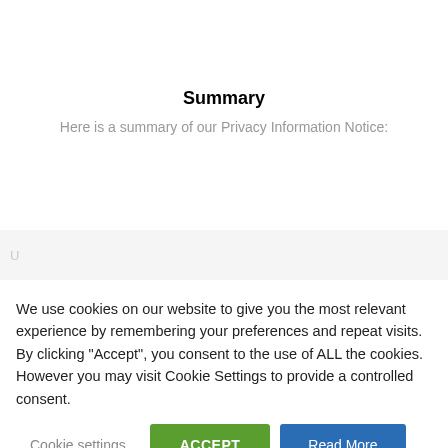Summary
Here is a summary of our Privacy Information Notice:
We use cookies on our website to give you the most relevant experience by remembering your preferences and repeat visits. By clicking “Accept”, you consent to the use of ALL the cookies. However you may visit Cookie Settings to provide a controlled consent.